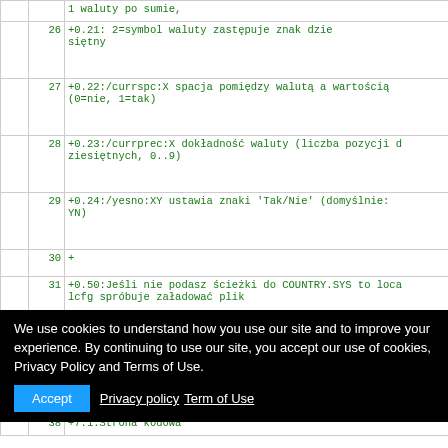|  |  | 1 waluty po sumie, |
|  | 26 | +0.21:              2=symbol waluty zastępuje znak dziesiętny |
|  | 27 | +0.22:/currspc:X  spacja pomiędzy walutą a wartością (0=nie, 1=tak) |
|  | 28 | +0.23:/currprec:X dokładność waluty (liczba pozycji dziesiętnych, 0..9) |
|  | 29 | +0.24:/yesno:XY   ustawia znaki 'Tak/Nie' (domyślnie: YN) |
|  | 30 | + |
|  | 31 | +0.50:Jeśli nie podasz ścieżki do COUNTRY.SYS to localcfg spróbuje załadować plik |
|  | 32 | +0.51:%DOSDIR%\CFG\COUNTRY.SYS |
|  | 33 | + |
|  | 34 | + |
We use cookies to understand how you use our site and to improve your experience. By continuing to use our site, you accept our use of cookies, Privacy Policy and Terms of Use.
38 +7.1:Strona kodowa